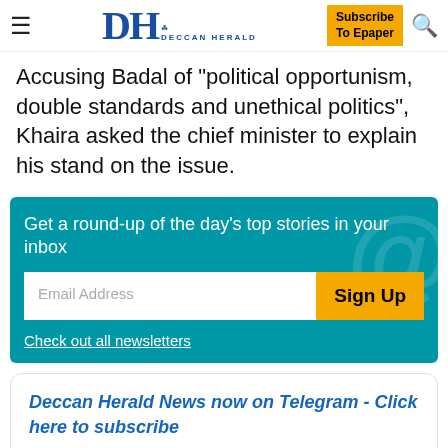DH DECCAN HERALD | Subscribe To Epaper
Accusing Badal of "political opportunism, double standards and unethical politics", Khaira asked the chief minister to explain his stand on the issue.
[Figure (infographic): Newsletter signup box with teal background. Text: 'Get a round-up of the day's top stories in your inbox'. Email Address input field and Sign Up button. Link: 'Check out all newsletters']
Deccan Herald News now on Telegram - Click here to subscribe

Follow us on Facebook / Twitter / Dailymotion / YouTube